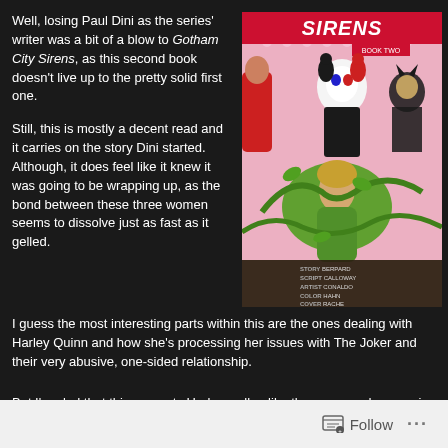Well, losing Paul Dini as the series' writer was a bit of a blow to Gotham City Sirens, as this second book doesn't live up to the pretty solid first one.
[Figure (illustration): Comic book cover of Gotham City Sirens Book Two featuring Harley Quinn, Poison Ivy, and Catwoman in colorful comic art style with credits listing Berpard, Calloway, Conaldo, Hahn, Rache]
Still, this is mostly a decent read and it carries on the story Dini started. Although, it does feel like it knew it was going to be wrapping up, as the bond between these three women seems to dissolve just as fast as it gelled.
I guess the most interesting parts within this are the ones dealing with Harley Quinn and how she’s processing her issues with The Joker and their very abusive, one-sided relationship.
But I’m glad that this presents Harley well unlike the more modern comics with her that have turned her into a one-dimensional joke character that has evolved into DC’s half-assed attempt at trying to make their own Deadpool
Follow ...